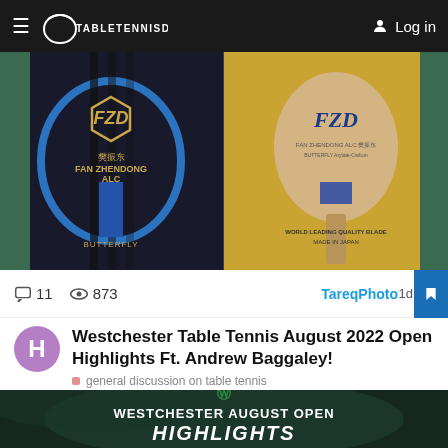TABLETENNISDAILY  Log in
[Figure (photo): Two photos of Fan Zhendong ALC Butterfly table tennis blade — left showing the dark packaging with gold logo and blue ribbon, right showing the wooden blade itself in gold box.]
11  873  TareqPhoto 1d
Westchester Table Tennis August 2022 Open Highlights Ft. Andrew Baggaley!
general discussion on table tennis
[Figure (screenshot): Dark green background video thumbnail showing Westchester August Open Highlights with green W logo and bold white text.]